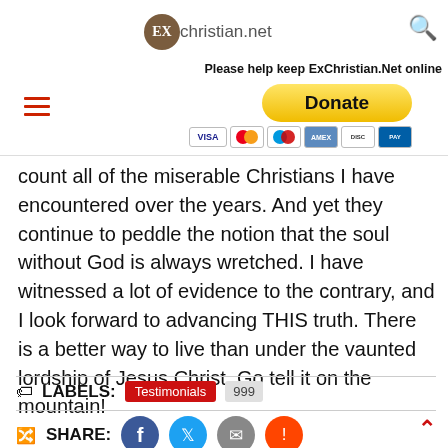ExChristian.net | Please help keep ExChristian.Net online | Donate | Payment options
count all of the miserable Christians I have encountered over the years. And yet they continue to peddle the notion that the soul without God is always wretched. I have witnessed a lot of evidence to the contrary, and I look forward to advancing THIS truth. There is a better way to live than under the vaunted lordship of Jesus Christ. Go tell it on the mountain!
LABELS: Testimonials 999
SHARE: